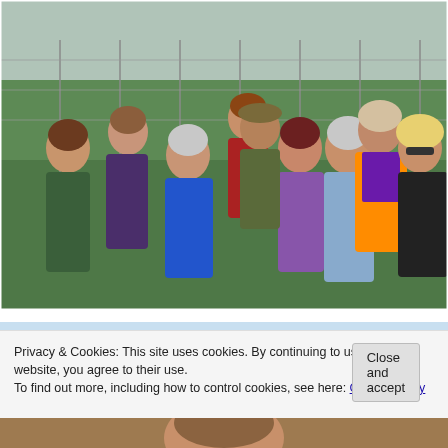[Figure (photo): Group photo of approximately 10 people standing outdoors in a vineyard or farm field with green grass and wire trellises in the background. People are wearing casual outdoor clothing including a blue jacket, orange hi-vis vest, camouflage hat. Overcast sky visible.]
Privacy & Cookies: This site uses cookies. By continuing to use this website, you agree to their use.
To find out more, including how to control cookies, see here: Cookie Policy
[Figure (photo): Partial view of a person's face at the bottom of the page.]